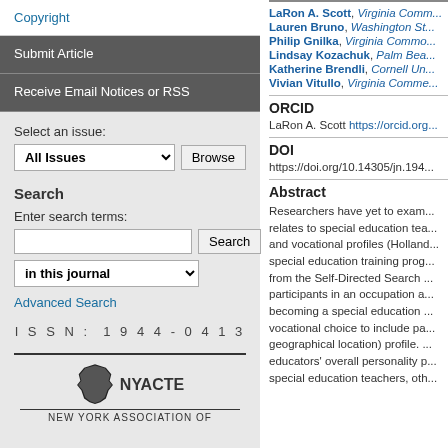Copyright
Submit Article
Receive Email Notices or RSS
Select an issue:
All Issues
Browse
Search
Enter search terms:
Search
in this journal
Advanced Search
ISSN: 1944-0413
[Figure (logo): New York state silhouette logo with NYACTE text and NEW YORK ASSOCIATION OF... text below]
LaRon A. Scott, Virginia Comm...
Lauren Bruno, Washington St...
Philip Gnilka, Virginia Commo...
Lindsay Kozachuk, Palm Bea...
Katherine Brendli, Cornell Un...
Vivian Vitullo, Virginia Comme...
ORCID
LaRon A. Scott https://orcid.org...
DOI
https://doi.org/10.14305/jn.194...
Abstract
Researchers have yet to exam... relates to special education tea... and vocational profiles (Holland... special education training prog... from the Self-Directed Search ... participants in an occupation a... becoming a special education ... vocational choice to include pa... geographical location) profile. ... educators' overall personality p... special education teachers, oth...